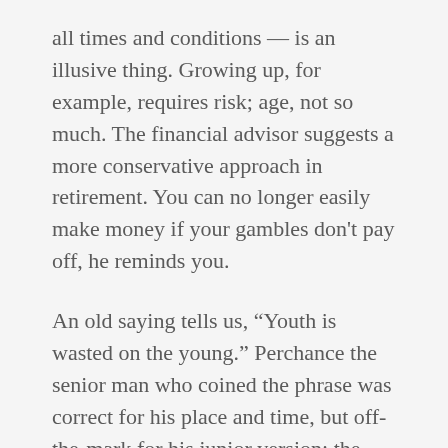all times and conditions — is an illusive thing. Growing up, for example, requires risk; age, not so much. The financial advisor suggests a more conservative approach in retirement. You can no longer easily make money if your gambles don't pay off, he reminds you.
An old saying tells us, “Youth is wasted on the young.” Perchance the senior man who coined the phrase was correct for his place and time, but off-the-mark for his junior version: the one who challenged himself or raised hell or acted on impulse. And had great fun in the process.
So called “wise men” persist in preaching at graduation ceremonies. The tiresome message